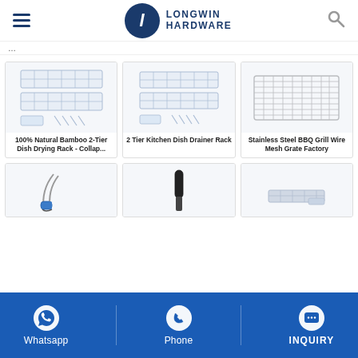[Figure (logo): Longwin Hardware logo with blue circle containing L, hamburger menu icon, and search icon]
[Figure (photo): 100% Natural Bamboo 2-Tier Dish Drying Rack - Collapsible product image showing wire rack]
100% Natural Bamboo 2-Tier Dish Drying Rack - Collap...
[Figure (photo): 2 Tier Kitchen Dish Drainer Rack product image]
2 Tier Kitchen Dish Drainer Rack
[Figure (photo): Stainless Steel BBQ Grill Wire Mesh Grate Factory product image]
Stainless Steel BBQ Grill Wire Mesh Grate Factory
[Figure (photo): Partial product image row 1 - tongs or tool with blue handle]
[Figure (photo): Partial product image row 2 - black handle tool]
[Figure (photo): Partial product image row 3 - metallic item]
Whatsapp  Phone  INQUIRY